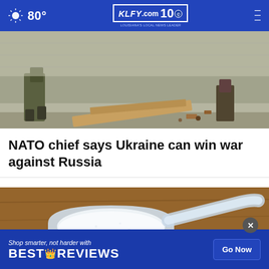80° KLFY.com 10 Louisiana's Local News Leader
[Figure (photo): Soldier in military camouflage gear crouching near debris on a street]
NATO chief says Ukraine can win war against Russia
[Figure (photo): Close-up of a plastic measuring scoop filled with white powder on a wooden surface]
[Figure (other): Advertisement banner: Shop smarter, not harder with BESTREVIEWS - Go Now button]